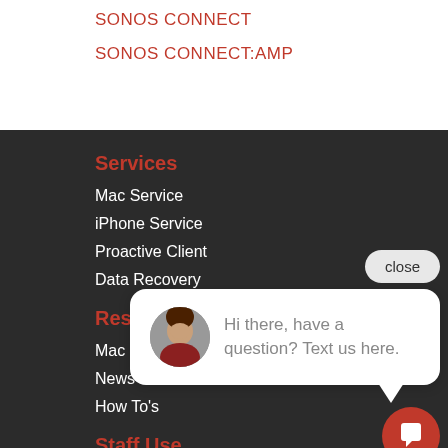SONOS CONNECT
SONOS CONNECT:AMP
Services
Mac Service
iPhone Service
Proactive Client
Data Recovery
Resources
Mac Desktops
News
How To's
Staff Use
[Figure (screenshot): Chat popup with close button and message: Hi there, have a question? Text us here. with a female avatar and a red chat icon button.]